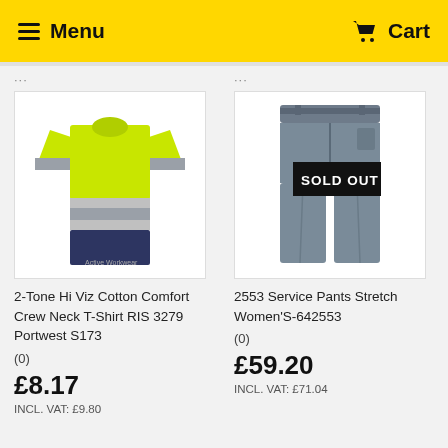Menu  Cart
[Figure (photo): Hi-vis yellow and navy crew neck t-shirt product image]
2-Tone Hi Viz Cotton Comfort Crew Neck T-Shirt RIS 3279 Portwest S173
(0)
£8.17
INCL. VAT: £9.80
[Figure (photo): Grey women's stretch service pants product image with SOLD OUT badge]
2553 Service Pants Stretch Women'S-642553
(0)
£59.20
INCL. VAT: £71.04